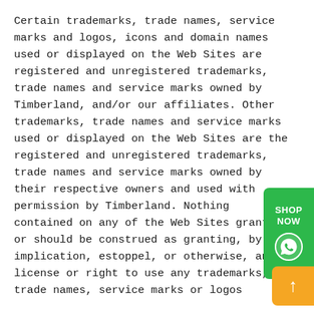Certain trademarks, trade names, service marks and logos, icons and domain names used or displayed on the Web Sites are registered and unregistered trademarks, trade names and service marks owned by Timberland, and/or our affiliates. Other trademarks, trade names and service marks used or displayed on the Web Sites are the registered and unregistered trademarks, trade names and service marks owned by their respective owners and used with permission by Timberland. Nothing contained on any of the Web Sites grant or should be construed as granting, by implication, estoppel, or otherwise, any license or right to use any trademarks, trade names, service marks or logos
[Figure (other): Green 'SHOP NOW' button with WhatsApp icon, positioned on the right side of the page]
[Figure (other): Orange scroll-to-top arrow button positioned at the bottom right of the page]